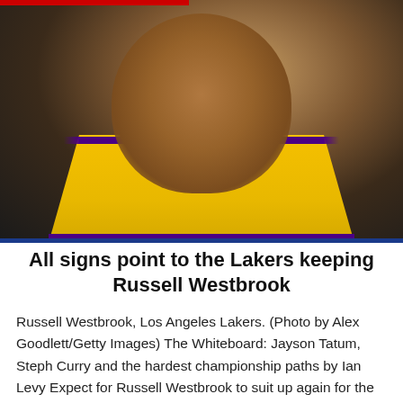[Figure (photo): Russell Westbrook in a Los Angeles Lakers yellow jersey, looking upward, on a dark arena background.]
All signs point to the Lakers keeping Russell Westbrook
Russell Westbrook, Los Angeles Lakers. (Photo by Alex Goodlett/Getty Images) The Whiteboard: Jayson Tatum, Steph Curry and the hardest championship paths by Ian Levy Expect for Russell Westbrook to suit up again for the Los Angeles Lakers next NBA season. All signs are pointing